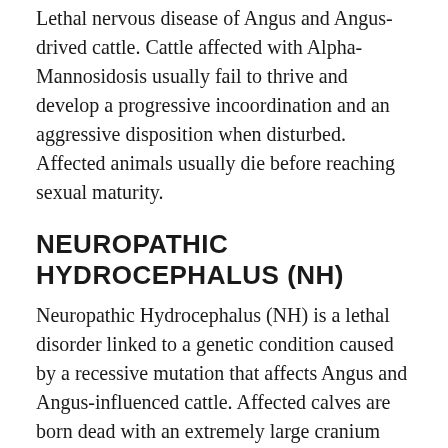Lethal nervous disease of Angus and Angus-drived cattle. Cattle affected with Alpha-Mannosidosis usually fail to thrive and develop a progressive incoordination and an aggressive disposition when disturbed. Affected animals usually die before reaching sexual maturity.
NEUROPATHIC HYDROCEPHALUS (NH)
Neuropathic Hydrocephalus (NH) is a lethal disorder linked to a genetic condition caused by a recessive mutation that affects Angus and Angus-influenced cattle. Affected calves are born dead with an extremely large cranium with little or no brain material or spinal cord. It is probable that...